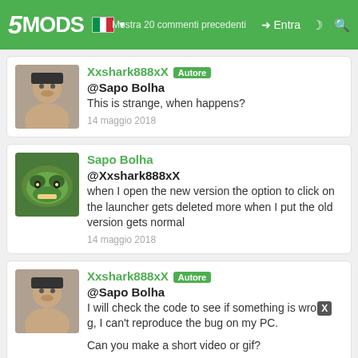5MODS — Mostra 20 commenti precedenti / Entra
Xxshark888xX [Autore]
@Sapo Bolha
This is strange, when happens?
14 maggio 2018
Sapo Bolha
@Xxshark888xX
when I open the new version the option to click on the launcher gets deleted more when I put the old version gets normal
14 maggio 2018
Xxshark888xX [Autore]
@Sapo Bolha
I will check the code to see if something is wrong, I can't reproduce the bug on my PC.

Can you make a short video or gif?